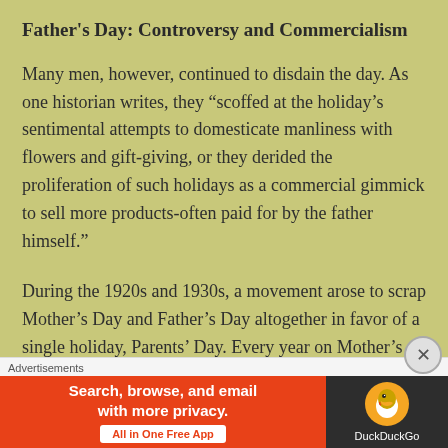Father's Day: Controversy and Commercialism
Many men, however, continued to disdain the day. As one historian writes, they “scoffed at the holiday’s sentimental attempts to domesticate manliness with flowers and gift-giving, or they derided the proliferation of such holidays as a commercial gimmick to sell more products-often paid for by the father himself.”
During the 1920s and 1930s, a movement arose to scrap Mother’s Day and Father’s Day altogether in favor of a single holiday, Parents’ Day. Every year on Mother’s Day, pro-Parents’ Day groups rallied in
[Figure (screenshot): DuckDuckGo advertisement banner: orange/red left side reading 'Search, browse, and email with more privacy. All in One Free App' with white button, and dark right side with DuckDuckGo logo.]